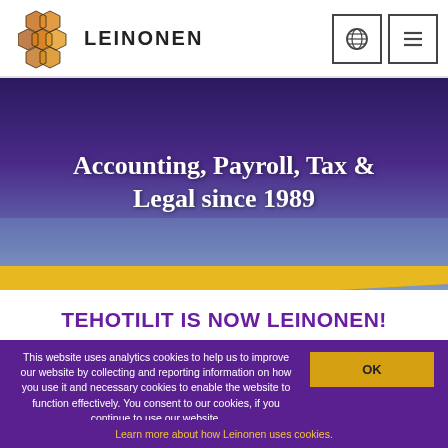[Figure (logo): Leinonen honeycomb logo with orange/yellow hexagons and 'LEINONEN' text in bold black letters]
Accounting, Payroll, Tax & Legal since 1989
TEHOTILIT IS NOW LEINONEN!
This website uses analytics cookies to help us to improve our website by collecting and reporting information on how you use it and necessary cookies to enable the website to function effectively. You consent to our cookies, if you continue to use our website.
Learn more about how Leinonen uses cookies.